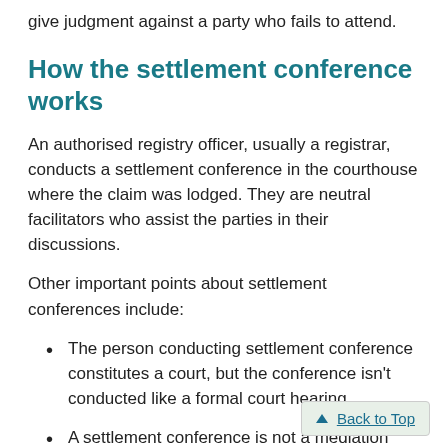give judgment against a party who fails to attend.
How the settlement conference works
An authorised registry officer, usually a registrar, conducts a settlement conference in the courthouse where the claim was lodged. They are neutral facilitators who assist the parties in their discussions.
Other important points about settlement conferences include:
The person conducting settlement conference constitutes a court, but the conference isn't conducted like a formal court hearing.
A settlement conference is not a mediation process (alternative dispute resolution).
Everything said in a settlement conference is confidential and open discussion of contentious